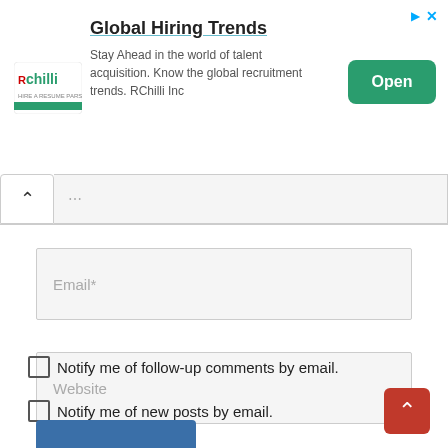[Figure (screenshot): RChilli ad banner: Global Hiring Trends with logo, description text, and Open button]
Email*
Website
Notify me of follow-up comments by email.
Notify me of new posts by email.